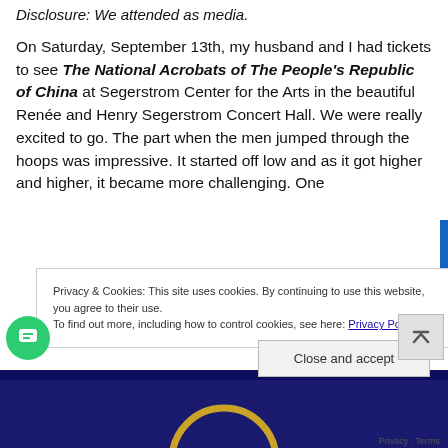Disclosure: We attended as media.
On Saturday, September 13th, my husband and I had tickets to see The National Acrobats of The People's Republic of China at Segerstrom Center for the Arts in the beautiful Renée and Henry Segerstrom Concert Hall. We were really excited to go. The part when the men jumped through the hoops was impressive. It started off low and as it got higher and higher, it became more challenging. One
Privacy & Cookies: This site uses cookies. By continuing to use this website, you agree to their use.
To find out more, including how to control cookies, see here: Privacy Policy
Close and accept
[Figure (screenshot): Dark blue background with a circular gold/yellow ring shape visible at the bottom of the page]